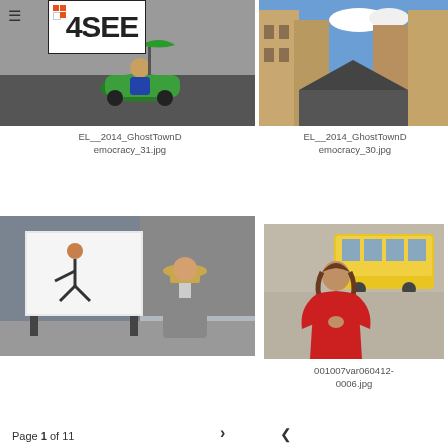[Figure (logo): 4SEE logo with orange/white grid squares and bold text]
[Figure (photo): Street scene with person on green vehicle/toy car, urban setting]
EL__2014_GhostTownDemocracy_31.jpg
[Figure (photo): Long narrow European street with tall buildings and blue sky]
EL__2014_GhostTownDemocracy_30.jpg
[Figure (photo): Man in straw hat walking past a large billboard advertisement on city street]
[Figure (photo): Woman in red jacket standing in front of yellow tram in Lisbon]
001007var060412-0006.jpg
Page 1 of 11  >  <